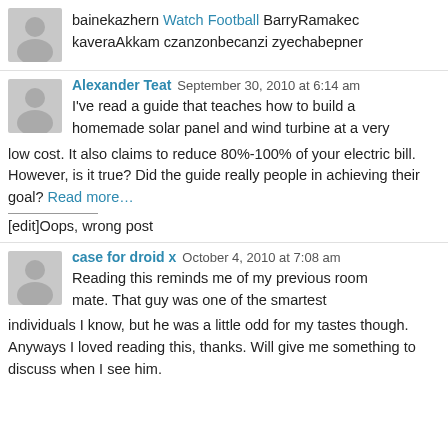bainekazhern Watch Football BarryRamakec kaveraAkkam czanzonbecanzi zyechabepner
Alexander Teat  September 30, 2010 at 6:14 am
I've read a guide that teaches how to build a homemade solar panel and wind turbine at a very low cost. It also claims to reduce 80%-100% of your electric bill. However, is it true? Did the guide really people in achieving their goal? Read more…
———————-
[edit]Oops, wrong post
case for droid x  October 4, 2010 at 7:08 am
Reading this reminds me of my previous room mate. That guy was one of the smartest individuals I know, but he was a little odd for my tastes though. Anyways I loved reading this, thanks. Will give me something to discuss when I see him.